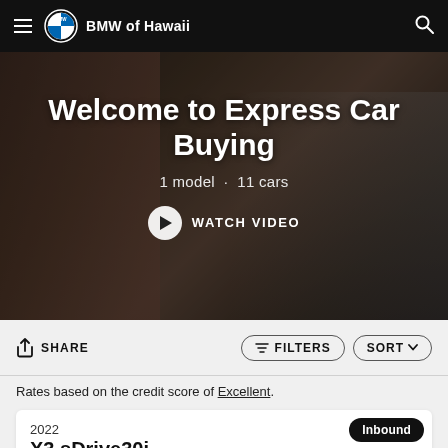BMW of Hawaii
Welcome to Express Car Buying
1 model · 11 cars
WATCH VIDEO
SHARE
FILTERS
SORT
Rates based on the credit score of Excellent.
Inbound
2022
X3 sDrive30i